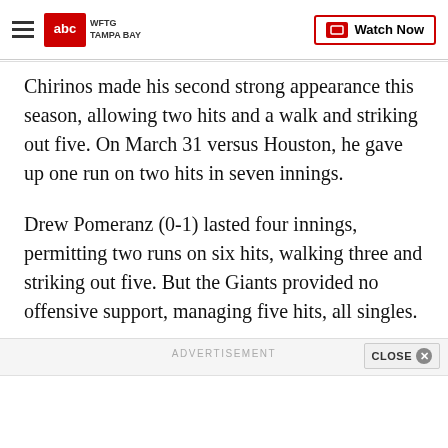WFTG TAMPA BAY | Watch Now
Chirinos made his second strong appearance this season, allowing two hits and a walk and striking out five. On March 31 versus Houston, he gave up one run on two hits in seven innings.
Drew Pomeranz (0-1) lasted four innings, permitting two runs on six hits, walking three and striking out five. But the Giants provided no offensive support, managing five hits, all singles.
ADVERTISEMENT